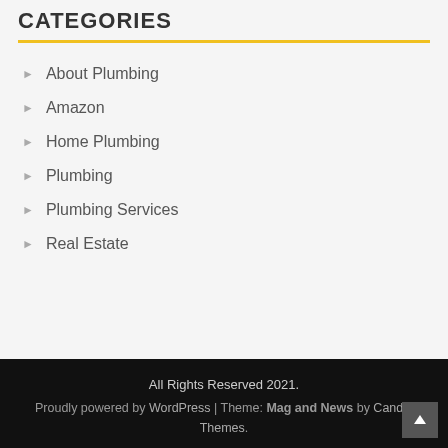CATEGORIES
About Plumbing
Amazon
Home Plumbing
Plumbing
Plumbing Services
Real Estate
All Rights Reserved 2021. Proudly powered by WordPress | Theme: Mag and News by Candid Themes.